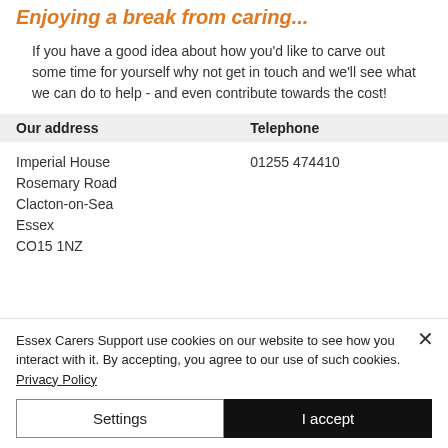Enjoying a break from caring...
If you have a good idea about how you'd like to carve out some time for yourself why not get in touch and we'll see what we can do to help - and even contribute towards the cost!
| Our address | Telephone |
| --- | --- |
| Imperial House | 01255 474410 |
| Rosemary Road |  |
| Clacton-on-Sea |  |
| Essex |  |
| CO15 1NZ |  |
Essex Carers Support use cookies on our website to see how you interact with it. By accepting, you agree to our use of such cookies. Privacy Policy
Settings
I accept